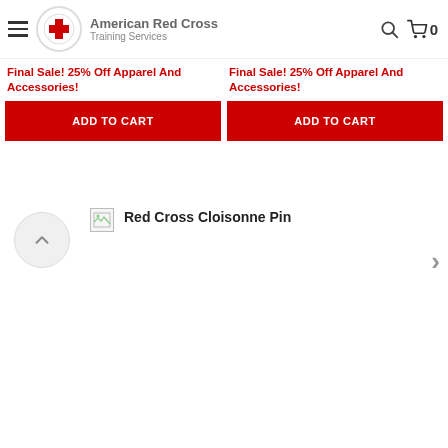American Red Cross Training Services
Final Sale! 25% Off Apparel And Accessories!
Final Sale! 25% Off Apparel And Accessories!
ADD TO CART
ADD TO CART
Red Cross Cloisonne Pin